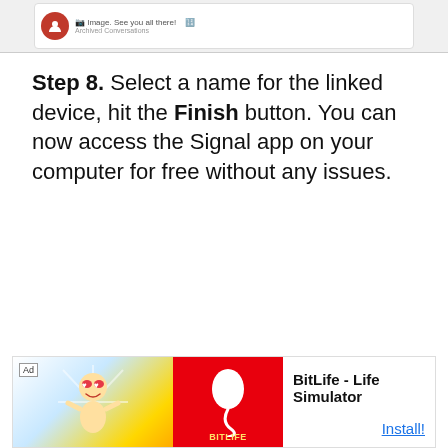[Figure (screenshot): Partial screenshot of a messaging app (Signal) showing a conversation preview with a red avatar icon and message text 'Image. See you all there!' with 'Archived Conversations' below.]
Step 8. Select a name for the linked device, hit the Finish button. You can now access the Signal app on your computer for free without any issues.
[Figure (infographic): Advertisement banner for BitLife - Life Simulator app. Shows 'Ad' label, cartoon character on left with blue/yellow background, red panel with white sperm logo and 'BITLIFE' text, and right panel with app name 'BitLife - Life Simulator' and 'Install!' button in blue.]